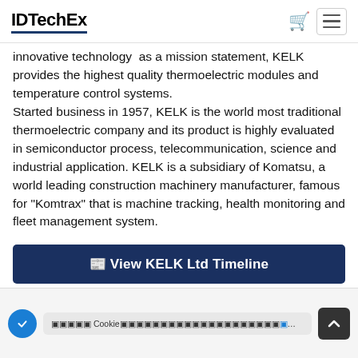IDTechEx
innovative technology  as a mission statement, KELK provides the highest quality thermoelectric modules and temperature control systems.
Started business in 1957, KELK is the world most traditional thermoelectric company and its product is highly evaluated in semiconductor process, telecommunication, science and industrial application. KELK is a subsidiary of Komatsu, a world leading construction machinery manufacturer, famous for "Komtrax" that is machine tracking, health monitoring and fleet management system.
View KELK Ltd Timeline
Cookie（クッキー）について詳しくはこちら